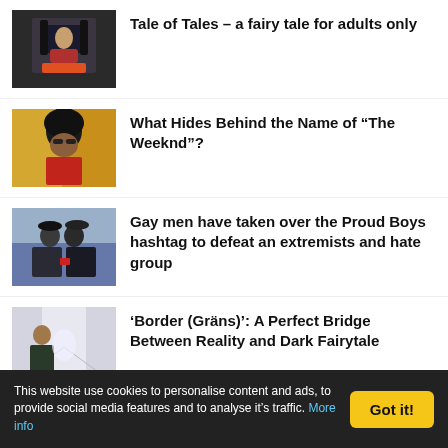Tale of Tales – a fairy tale for adults only
What Hides Behind the Name of “The Weeknd”?
Gay men have taken over the Proud Boys hashtag to defeat an extremists and hate group
‘Border (Gräns)’: A Perfect Bridge Between Reality and Dark Fairytale
Political murders and Kremlin’s regime
This website use cookies to personalise content and ads, to provide social media features and to analyse it’s traffic. More info